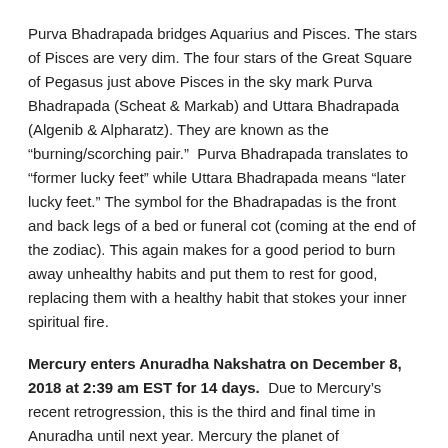Purva Bhadrapada bridges Aquarius and Pisces. The stars of Pisces are very dim. The four stars of the Great Square of Pegasus just above Pisces in the sky mark Purva Bhadrapada (Scheat & Markab) and Uttara Bhadrapada (Algenib & Alpharatz). They are known as the “burning/scorching pair.”  Purva Bhadrapada translates to “former lucky feet” while Uttara Bhadrapada means “later lucky feet.” The symbol for the Bhadrapadas is the front and back legs of a bed or funeral cot (coming at the end of the zodiac). This again makes for a good period to burn away unhealthy habits and put them to rest for good, replacing them with a healthy habit that stokes your inner spiritual fire.
Mercury enters Anuradha Nakshatra on December 8, 2018 at 2:39 am EST for 14 days.  Due to Mercury’s recent retrogression, this is the third and final time in Anuradha until next year. Mercury the planet of communications, connections, commerce, exchanges and the intellect enters goal oriented Anuradha and taps into the Shakti Power of worship, devotion, reverence, honor and right relationship. It is associated with Bhakti, devotional worship of God or a particular deity or enlightened Yogi, whatever it is for you. Keeping in mind the Mars-Neptune cycle that began yesterday for taking